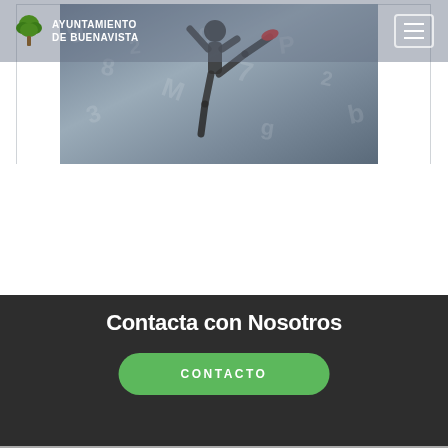AYUNTAMIENTO DE BUENAVISTA
[Figure (photo): Sports/athletic photo with person doing a kick or jump move against a background with overlaid numbers and digits, rendered in muted gray-blue tones]
Contacta con Nosotros
CONTACTO